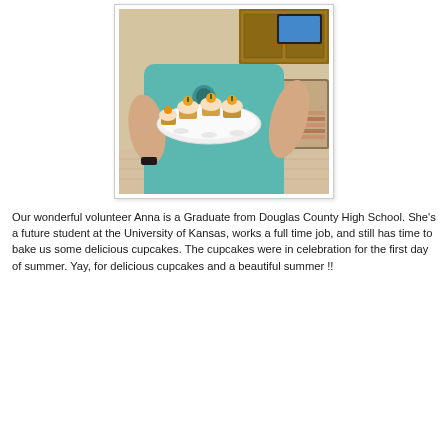[Figure (photo): A person in a teal t-shirt holding a white plate with cupcakes decorated with orange and green frosting, standing in a kitchen setting.]
Our wonderful volunteer Anna is a Graduate from Douglas County High School. She's a future student at the University of Kansas, works a full time job, and still has time to bake us some delicious cupcakes. The cupcakes were in celebration for the first day of summer. Yay, for delicious cupcakes and a beautiful summer !!